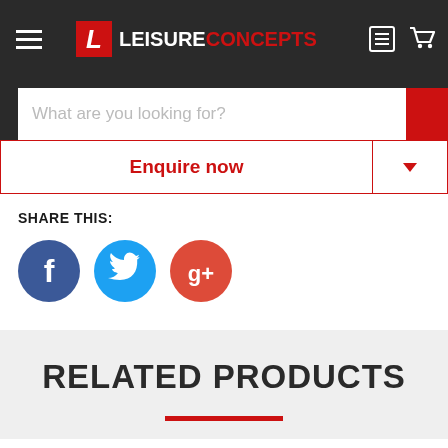Leisure Concepts — navigation bar with logo, hamburger menu, search icon, and cart icon
What are you looking for?
Enquire now
SHARE THIS:
[Figure (infographic): Social media share buttons: Facebook (blue circle with f), Twitter (cyan circle with bird), Google+ (red circle with g+)]
RELATED PRODUCTS